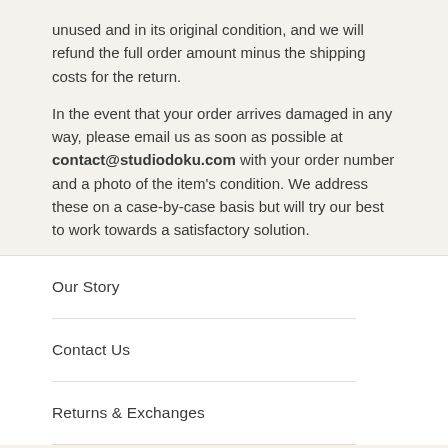unused and in its original condition, and we will refund the full order amount minus the shipping costs for the return.
In the event that your order arrives damaged in any way, please email us as soon as possible at contact@studiodoku.com with your order number and a photo of the item's condition. We address these on a case-by-case basis but will try our best to work towards a satisfactory solution.
Our Story
Contact Us
Returns & Exchanges